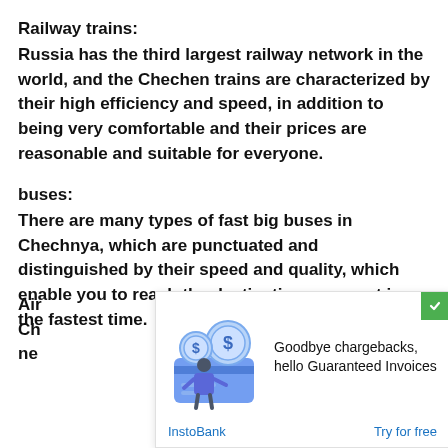Railway trains:
Russia has the third largest railway network in the world, and the Chechen trains are characterized by their high efficiency and speed, in addition to being very comfortable and their prices are reasonable and suitable for everyone.
buses:
There are many types of fast big buses in Chechnya, which are punctuated and distinguished by their speed and quality, which enable you to reach the destination you want in the fastest time.
[Figure (infographic): Advertisement overlay: InstoBank ad showing 'Goodbye chargebacks, hello Guaranteed Invoices' with illustration of man with dollar coins and credit card. Links to InstoBank and 'Try for free'.]
Air
Ch
ne